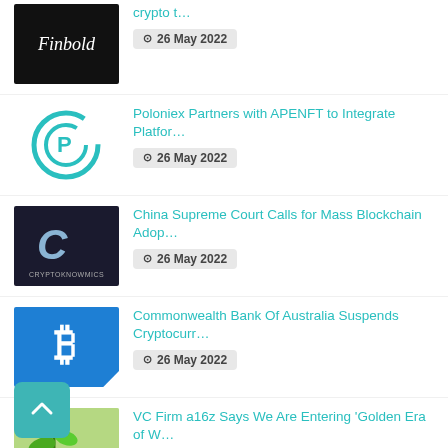crypto t… · 26 May 2022
Poloniex Partners with APENFT to Integrate Platfor… · 26 May 2022
China Supreme Court Calls for Mass Blockchain Adop… · 26 May 2022
Commonwealth Bank Of Australia Suspends Cryptocurr… · 26 May 2022
VC Firm a16z Says We Are Entering 'Golden Era of W… · 26 May 2022